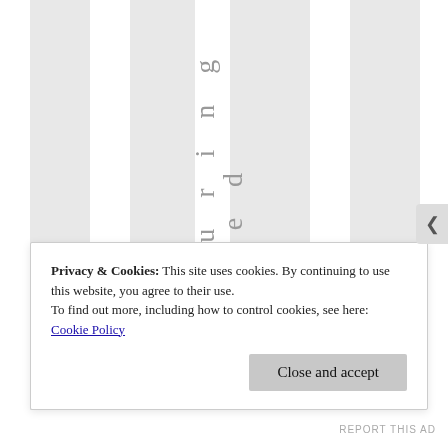[Figure (other): Webpage screenshot showing vertical striped gray and white column background with rotated vertical text reading partial word letters: c, n, t, u, r, i, n, g, m, y, s, e, d in center column, likely part of the word 'centuringmysed' or similar rotated title text]
Privacy & Cookies: This site uses cookies. By continuing to use this website, you agree to their use.
To find out more, including how to control cookies, see here: Cookie Policy
Close and accept
REPORT THIS AD